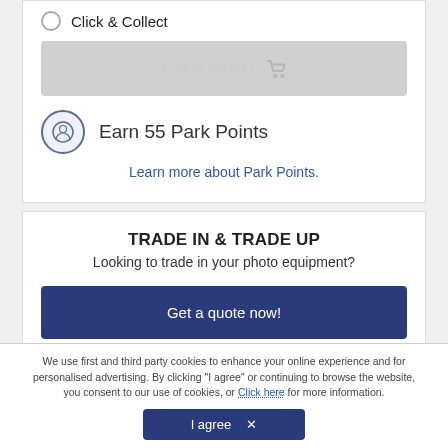Click & Collect
Add to Basket
Earn 55 Park Points
Learn more about Park Points.
TRADE IN & TRADE UP
Looking to trade in your photo equipment?
Get a quote now!
We use first and third party cookies to enhance your online experience and for personalised advertising. By clicking "I agree" or continuing to browse the website, you consent to our use of cookies, or Click here for more information.
I agree